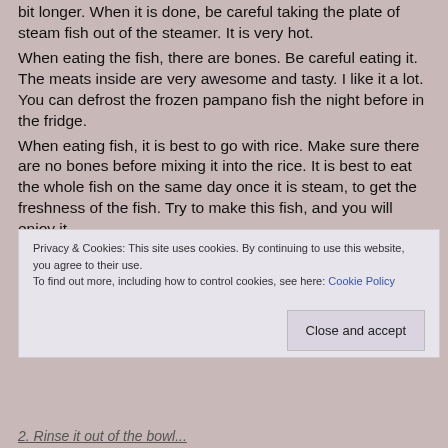bit longer. When it is done, be careful taking the plate of steam fish out of the steamer. It is very hot.
When eating the fish, there are bones. Be careful eating it. The meats inside are very awesome and tasty. I like it a lot. You can defrost the frozen pampano fish the night before in the fridge.
When eating fish, it is best to go with rice. Make sure there are no bones before mixing it into the rice. It is best to eat the whole fish on the same day once it is steam, to get the freshness of the fish. Try to make this fish, and you will enjoy it.
Direction Cleaning:
1. Take the frozen Pampano out of the freezer.
Privacy & Cookies: This site uses cookies. By continuing to use this website, you agree to their use. To find out more, including how to control cookies, see here: Cookie Policy
Close and accept
2. Rinse it out of the bowl...